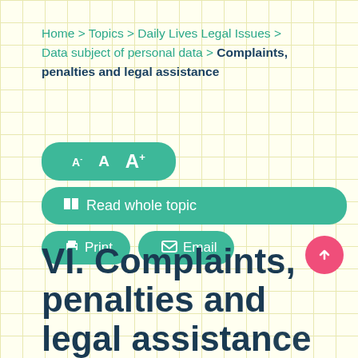Home > Topics > Daily Lives Legal Issues > Data subject of personal data > Complaints, penalties and legal assistance
[Figure (screenshot): Font size controls (A- A A+), Read whole topic button, Print button, Email button, and scroll-to-top circular pink button]
VI. Complaints, penalties and legal assistance